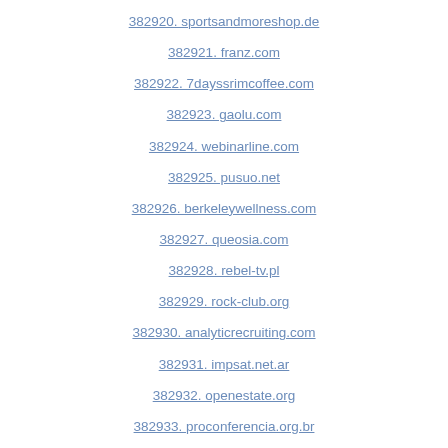382920. sportsandmoreshop.de
382921. franz.com
382922. 7dayssrimcoffee.com
382923. gaolu.com
382924. webinarline.com
382925. pusuo.net
382926. berkeleywellness.com
382927. queosia.com
382928. rebel-tv.pl
382929. rock-club.org
382930. analyticrecruiting.com
382931. impsat.net.ar
382932. openestate.org
382933. proconferencia.org.br